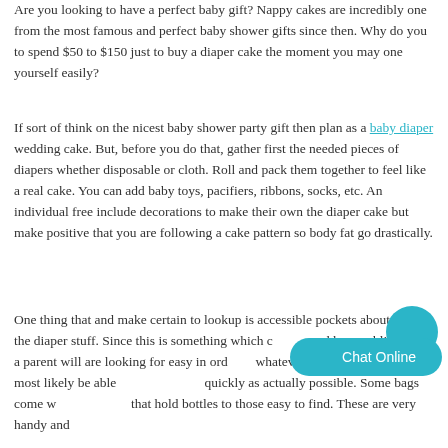Are you looking to have a perfect baby gift? Nappy cakes are incredibly one from the most famous and perfect baby shower gifts since then. Why do you to spend $50 to $150 just to buy a diaper cake the moment you may one yourself easily?
If sort of think on the nicest baby shower party gift then plan as a baby diaper wedding cake. But, before you do that, gather first the needed pieces of diapers whether disposable or cloth. Roll and pack them together to feel like a real cake. You can add baby toys, pacifiers, ribbons, socks, etc. An individual free include decorations to make their own the diaper cake but make positive that you are following a cake pattern so body fat go drastically.
One thing that and make certain to lookup is accessible pockets about the of the diaper stuff. Since this is something which can be used by a public place a parent will are looking for easy in order to whatever end up being they most likely be able to get things as quickly as actually possible. Some bags come with deep bags that hold bottles to those easy to find. These are very handy and